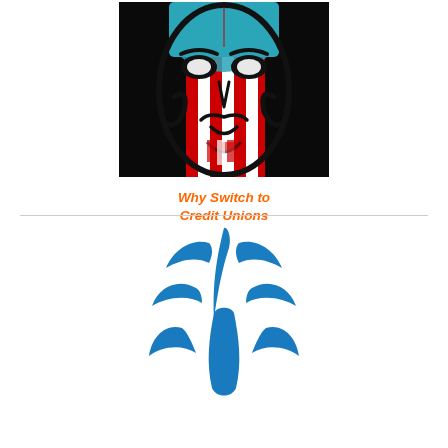[Figure (illustration): Guy Fawkes / Anonymous mask styled with American flag red, white, and blue stripes and colors on a black background]
Why Switch to Credit Unions
[Figure (logo): Blue stylized leaf or hand-shaped credit union logo mark on white background]